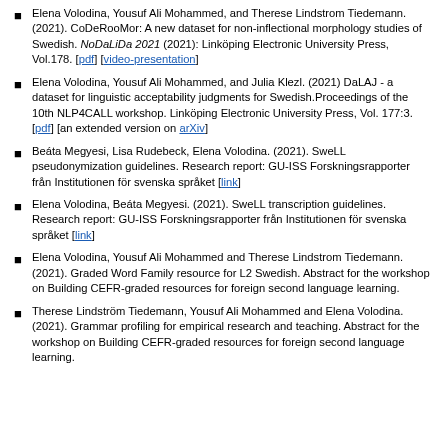Elena Volodina, Yousuf Ali Mohammed, and Therese Lindstrom Tiedemann. (2021). CoDeRooMor: A new dataset for non-inflectional morphology studies of Swedish. NoDaLiDa 2021 (2021): Linköping Electronic University Press, Vol.178. [pdf] [video-presentation]
Elena Volodina, Yousuf Ali Mohammed, and Julia Klezl. (2021) DaLAJ - a dataset for linguistic acceptability judgments for Swedish.Proceedings of the 10th NLP4CALL workshop. Linköping Electronic University Press, Vol. 177:3. [pdf] [an extended version on arXiv]
Beáta Megyesi, Lisa Rudebeck, Elena Volodina. (2021). SweLL pseudonymization guidelines. Research report: GU-ISS Forskningsrapporter från Institutionen för svenska språket [link]
Elena Volodina, Beáta Megyesi. (2021). SweLL transcription guidelines. Research report: GU-ISS Forskningsrapporter från Institutionen för svenska språket [link]
Elena Volodina, Yousuf Ali Mohammed and Therese Lindstrom Tiedemann. (2021). Graded Word Family resource for L2 Swedish. Abstract for the workshop on Building CEFR-graded resources for foreign second language learning.
Therese Lindström Tiedemann, Yousuf Ali Mohammed and Elena Volodina. (2021). Grammar profiling for empirical research and teaching. Abstract for the workshop on Building CEFR-graded resources for foreign second language learning.